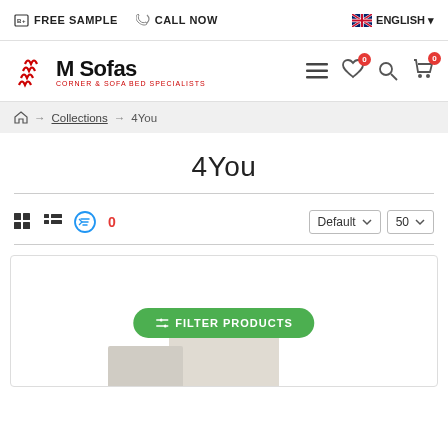FREE SAMPLE  CALL NOW  ENGLISH
[Figure (logo): M Sofas logo with red wave graphic and tagline CORNER & SOFA BED SPECIALISTS]
Home → Collections → 4You
4You
Grid view  List view  Filter icon  0  Default  50
[Figure (screenshot): Product listing area with FILTER PRODUCTS green button and partial sofa product image at bottom]